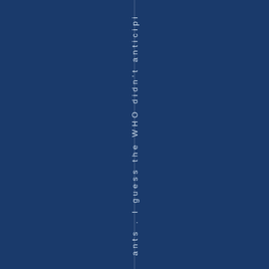ants . I guess the WHO didn't anticipi